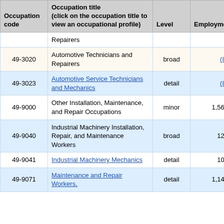| Occupation code | Occupation title (click on the occupation title to view an occupational profile) | Level | Employment | Employment RSE |
| --- | --- | --- | --- | --- |
|  | Repairers |  |  |  |
| 49-3020 | Automotive Technicians and Repairers | broad | (8) |  |
| 49-3023 | Automotive Service Technicians and Mechanics | detail | (8) |  |
| 49-9000 | Other Installation, Maintenance, and Repair Occupations | minor | 1,560 | 18 |
| 49-9040 | Industrial Machinery Installation, Repair, and Maintenance Workers | broad | 120 | 28 |
| 49-9041 | Industrial Machinery Mechanics | detail | 100 | 33 |
| 49-9071 | Maintenance and Repair Workers, | detail | 1,140 | 24 |